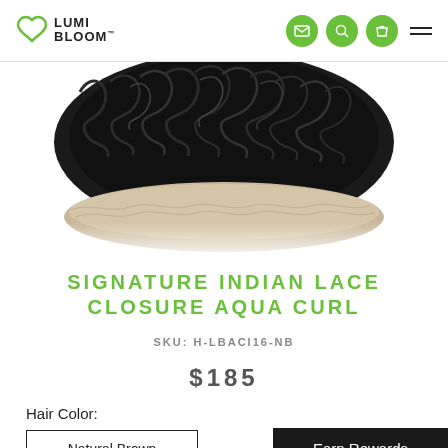LUMI BLOOM
[Figure (photo): Close-up photo of dark curly/wavy hair extensions lace closure product on white background]
SIGNATURE INDIAN LACE CLOSURE AQUA CURL
SKU: H-LBACI16-NB
$185
Hair Color:
Natural Brown
Earn Rewards